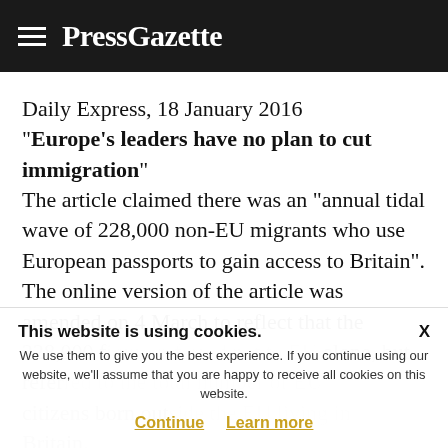PressGazette
Daily Express, 18 January 2016
“Europe’s leaders have no plan to cut immigration”
The article claimed there was an “annual tidal wave of 228,000 non-EU migrants who use European passports to gain access to Britain”.
The online version of the article was amended on 4 March to reflect that the 228,000 figure referred not to EU alone, but referred to the total number of EU citizens born outside the EU living in Britain.
This website is using cookies. We use them to give you the best experience. If you continue using our website, we’ll assume that you are happy to receive all cookies on this website. Continue  Learn more